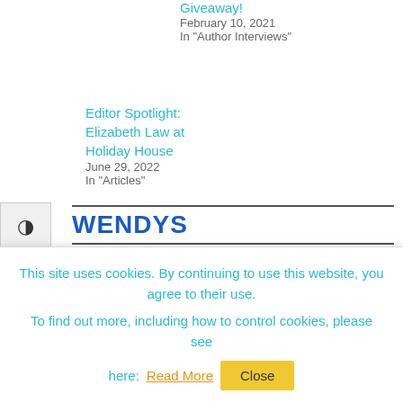Giveaway!
February 10, 2021
In "Author Interviews"
Editor Spotlight: Elizabeth Law at Holiday House
June 29, 2022
In "Articles"
WENDYS
This site uses cookies. By continuing to use this website, you agree to their use. To find out more, including how to control cookies, please see here: Read More
Close